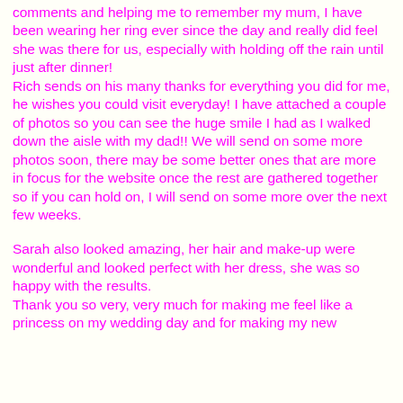comments and helping me to remember my mum, I have been wearing her ring ever since the day and really did feel she was there for us, especially with holding off the rain until just after dinner! Rich sends on his many thanks for everything you did for me, he wishes you could visit everyday! I have attached a couple of photos so you can see the huge smile I had as I walked down the aisle with my dad!! We will send on some more photos soon, there may be some better ones that are more in focus for the website once the rest are gathered together so if you can hold on, I will send on some more over the next few weeks.
Sarah also looked amazing, her hair and make-up were wonderful and looked perfect with her dress, she was so happy with the results. Thank you so very, very much for making me feel like a princess on my wedding day and for making my new